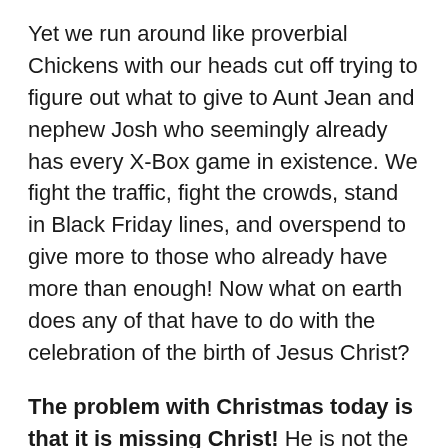Yet we run around like proverbial Chickens with our heads cut off trying to figure out what to give to Aunt Jean and nephew Josh who seemingly already has every X-Box game in existence. We fight the traffic, fight the crowds, stand in Black Friday lines, and overspend to give more to those who already have more than enough! Now what on earth does any of that have to do with the celebration of the birth of Jesus Christ?
The problem with Christmas today is that it is missing Christ! He is not the “reason for the season” (truly He is but not as we celebrate Christmas). Buying, giving, and receiving gifts is the new “reason for the season.” We’ve forgotten God’s gift to us and instead substituted our gifts to each other. Spending time with family and having traditions is wonderful but if Christ is missing from